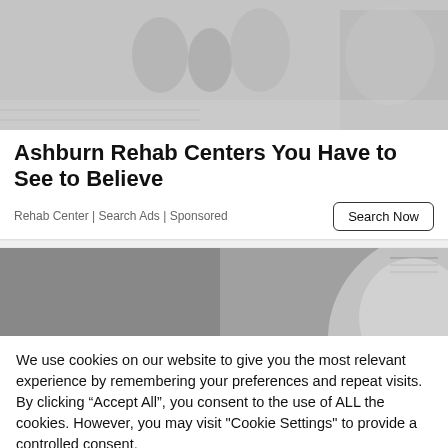[Figure (photo): Grayscale photo of people, possibly children playing or standing, with a decorative heart-shaped pattern visible on the right side]
Ashburn Rehab Centers You Have to See to Believe
Rehab Center | Search Ads | Sponsored
[Figure (photo): Grayscale photo of a light bulb, partially visible, on a gray background]
We use cookies on our website to give you the most relevant experience by remembering your preferences and repeat visits. By clicking “Accept All”, you consent to the use of ALL the cookies. However, you may visit "Cookie Settings" to provide a controlled consent.